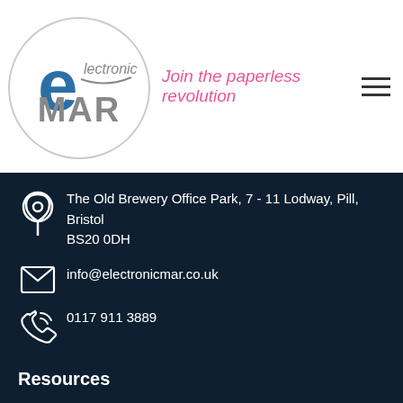[Figure (logo): Electronic eMAR logo — a circle with 'e' and 'electronic' text above 'MAR' in grey, blue e letter, and a swoosh accent]
Join the paperless revolution
The Old Brewery Office Park, 7 - 11 Lodway, Pill, Bristol BS20 0DH
info@electronicmar.co.uk
0117 911 3889
Resources
About us
How We Work